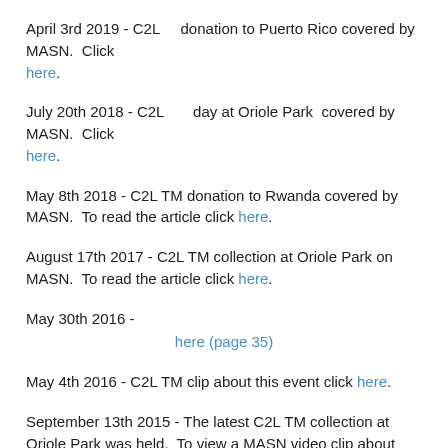April 3rd 2019 - C2L donation to Puerto Rico covered by MASN. Click here.
July 20th 2018 - C2L day at Oriole Park covered by MASN. Click here.
May 8th 2018 - C2L TM donation to Rwanda covered by MASN. To read the article click here.
August 17th 2017 - C2L TM collection at Oriole Park on MASN. To read the article click here.
May 30th 2016 - here (page 35)
May 4th 2016 - C2L TM clip about this event click here.
September 13th 2015 - The latest C2L TM collection at Oriole Park was held. To view a MASN video clip about this event click here.